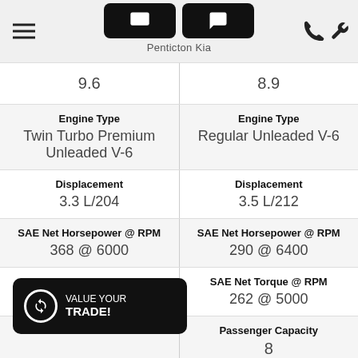[Figure (screenshot): Navigation bar with hamburger menu, two dark rounded buttons with icons, Penticton Kia brand text, and wrench/phone icons on the right]
| Column 1 | Column 2 |
| --- | --- |
| 9.6 | 8.9 |
| Engine Type
Twin Turbo Premium Unleaded V-6 | Engine Type
Regular Unleaded V-6 |
| Displacement
3.3 L/204 | Displacement
3.5 L/212 |
| SAE Net Horsepower @ RPM
368 @ 6000 | SAE Net Horsepower @ RPM
290 @ 6400 |
| SAE Net Torque @ RPM
376 @ 1300 | SAE Net Torque @ RPM
262 @ 5000 |
| [VALUE YOUR TRADE! button overlay] | Passenger Capacity
8 |